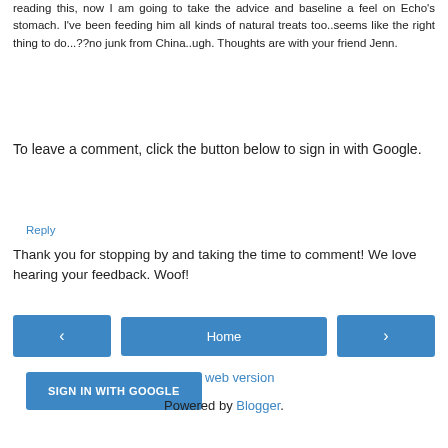reading this, now I am going to take the advice and baseline a feel on Echo's stomach. I've been feeding him all kinds of natural treats too..seems like the right thing to do...??no junk from China..ugh. Thoughts are with your friend Jenn.
Reply
To leave a comment, click the button below to sign in with Google.
SIGN IN WITH GOOGLE
Thank you for stopping by and taking the time to comment! We love hearing your feedback. Woof!
Home
View web version
Powered by Blogger.